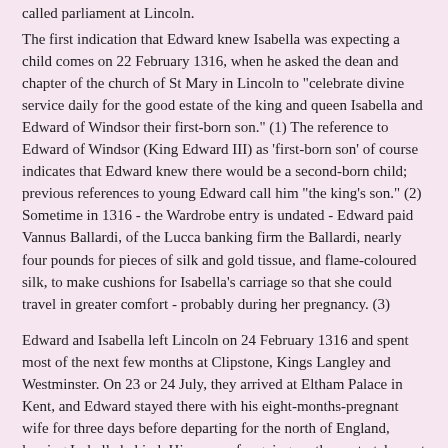called parliament at Lincoln.
The first indication that Edward knew Isabella was expecting a child comes on 22 February 1316, when he asked the dean and chapter of the church of St Mary in Lincoln to "celebrate divine service daily for the good estate of the king and queen Isabella and Edward of Windsor their first-born son." (1) The reference to Edward of Windsor (King Edward III) as 'first-born son' of course indicates that Edward knew there would be a second-born child; previous references to young Edward call him "the king's son." (2) Sometime in 1316 - the Wardrobe entry is undated - Edward paid Vannus Ballardi, of the Lucca banking firm the Ballardi, nearly four pounds for pieces of silk and gold tissue, and flame-coloured silk, to make cushions for Isabella's carriage so that she could travel in greater comfort - probably during her pregnancy. (3)
Edward and Isabella left Lincoln on 24 February 1316 and spent most of the next few months at Clipstone, Kings Langley and Westminster. On 23 or 24 July, they arrived at Eltham Palace in Kent, and Edward stayed there with his eight-months-pregnant wife for three days before departing for the north of England, leaving Isabella behind. His reason for going north was to take part in yet another campaign against the Scots, which in fact was